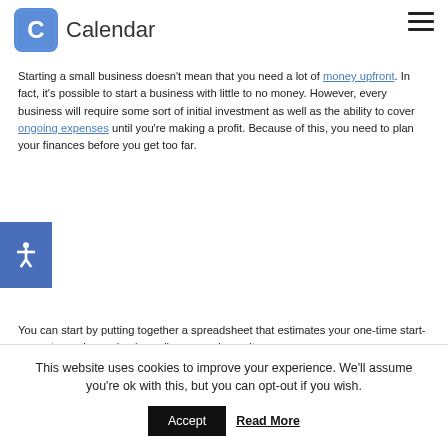Calendar
Starting a small business doesn't mean that you need a lot of money upfront. In fact, it's possible to start a business with little to no money. However, every business will require some sort of initial investment as well as the ability to cover ongoing expenses until you're making a profit. Because of this, you need to plan your finances before you get too far.
You can start by putting together a spreadsheet that estimates your one-time start-up costs, such as a business license and permits,
This website uses cookies to improve your experience. We'll assume you're ok with this, but you can opt-out if you wish.